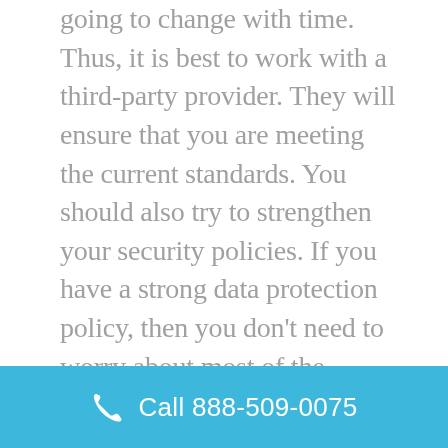going to change with time. Thus, it is best to work with a third-party provider. They will ensure that you are meeting the current standards. You should also try to strengthen your security policies. If you have a strong data protection policy, then you don't need to worry about most of the compliances. Thus, it is always a good idea to invest in your infrastructure security. If you want more information regarding CCPA compliance, then you can contact
Call 888-509-0075